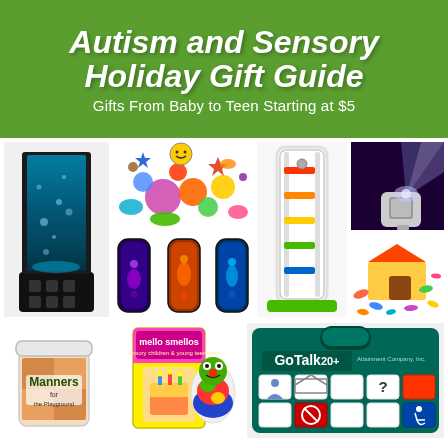Autism and Sensory Holiday Gift Guide
Gifts From Baby to Teen Starting at $5
[Figure (photo): Collage of sensory and autism-friendly gifts including: a bubble lamp/tube, colorful sensory fidget toys, a marble run tower, a night light projector, liquid motion timers, a colorful building block dog house set, a Manners jar game, Mello Smellos scent kit, a frog shoe tying toy, and a GoTalk 20+ communication device.]